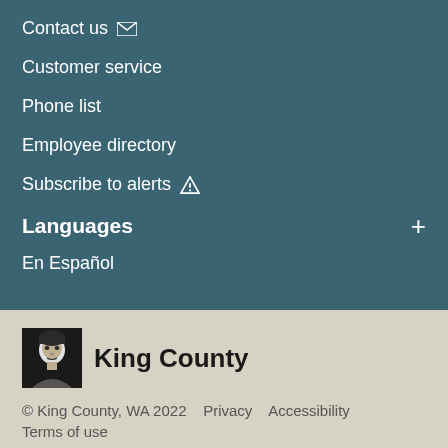Contact us ✉
Customer service
Phone list
Employee directory
Subscribe to alerts ⚠
Languages
En Español
[Figure (logo): King County logo - black and white portrait icon]
King County
© King County, WA 2022   Privacy   Accessibility
Terms of use